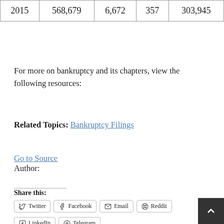| 2015 | 568,679 | 6,672 | 357 | 303,945 |
For more on bankruptcy and its chapters, view the following resources:
Related Topics: Bankruptcy Filings
Go to Source
Author:
Share this:
Twitter  Facebook  Email  Reddit  LinkedIn  Telegram
Like this:
Loading...